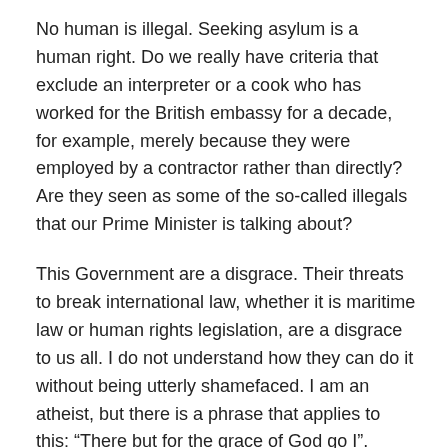No human is illegal. Seeking asylum is a human right. Do we really have criteria that exclude an interpreter or a cook who has worked for the British embassy for a decade, for example, merely because they were employed by a contractor rather than directly? Are they seen as some of the so-called illegals that our Prime Minister is talking about?
This Government are a disgrace. Their threats to break international law, whether it is maritime law or human rights legislation, are a disgrace to us all. I do not understand how they can do it without being utterly shamefaced. I am an atheist, but there is a phrase that applies to this: “There but for the grace of God go I”.
Read the whole debate on Hansard
SHARE THIS: